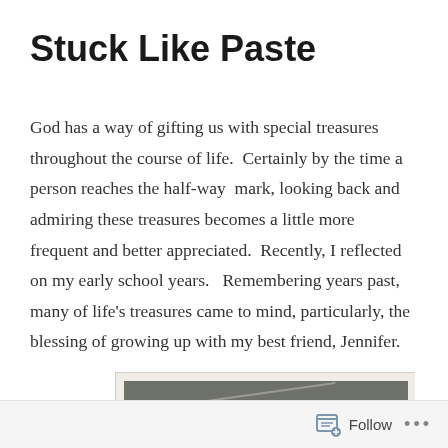Stuck Like Paste
God has a way of gifting us with special treasures throughout the course of life.  Certainly by the time a person reaches the half-way  mark, looking back and admiring these treasures becomes a little more frequent and better appreciated.  Recently, I reflected on my early school years.   Remembering years past, many of life's treasures came to mind, particularly, the blessing of growing up with my best friend, Jennifer.
[Figure (photo): Partial view of a photograph showing a dark rectangular image area on a light/cream background, partially cut off at the bottom of the page.]
Follow ...